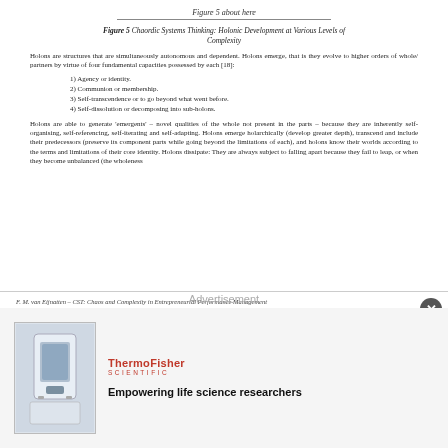Figure 5 about here
Figure 5  Chaordic Systems Thinking: Holonic Development at Various Levels of Complexity
Holons are structures that are simultaneously autonomous and dependent. Holons emerge, that is they evolve to higher orders of whole/ partners by virtue of four fundamental capacities possessed by each [18]:
1) Agency or identity.
2) Communion or membership.
3) Self-transcendence or to go beyond what went before.
4) Self-dissolution or decomposing into sub-holons.
Holons are able to generate 'emergents' – novel qualities of the whole not present in the parts – because they are inherently self-organising, self-referencing, self-iterating and self-adapting. Holons emerge holarchically (develop greater depth), transcend and include their predecessors (preserve its component parts while going beyond the limitations of each), and holons know their worlds according to the terms and limitations of their core identity. Holons dissipate: They are always subject to falling apart because they fail to leap, or when they become unbalanced (the wholeness
F. M. van Eijnatten – CST: Chaos and Complexity in Entrepreneurial Performance Management          12
[Figure (other): Advertisement section with ThermoFisher Scientific logo and text 'Empowering life science researchers', with image of laboratory instrument]